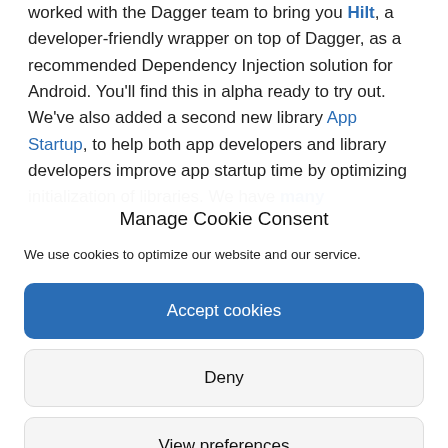worked with the Dagger team to bring you Hilt, a developer-friendly wrapper on top of Dagger, as a recommended Dependency Injection solution for Android. You'll find this in alpha ready to try out. We've also added a second new library App Startup, to help both app developers and library developers improve app startup time by optimizing initialization of libraries. We have many
Manage Cookie Consent
We use cookies to optimize our website and our service.
Accept cookies
Deny
View preferences